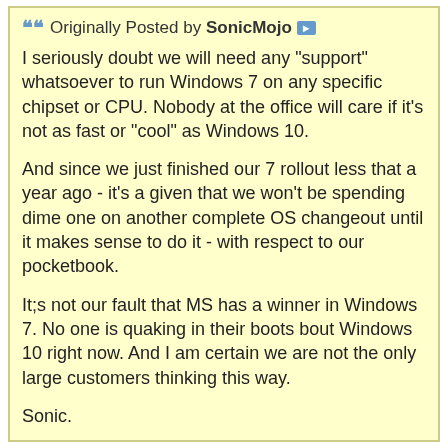Originally Posted by SonicMojo
I seriously doubt we will need any "support" whatsoever to run Windows 7 on any specific chipset or CPU. Nobody at the office will care if it's not as fast or "cool" as Windows 10.

And since we just finished our 7 rollout less that a year ago - it's a given that we won't be spending dime one on another complete OS changeout until it makes sense to do it - with respect to our pocketbook.

It;s not our fault that MS has a winner in Windows 7. No one is quaking in their boots bout Windows 10 right now. And I am certain we are not the only large customers thinking this way.

Sonic.
You don't care about security updates either?
Read that Microsoft blog post very carefully, or perhaps others in your company already have. It contains quite a manifesto on what Microsoft will support and what Microsoft will not support.
(this has a cut-off line at bottom)